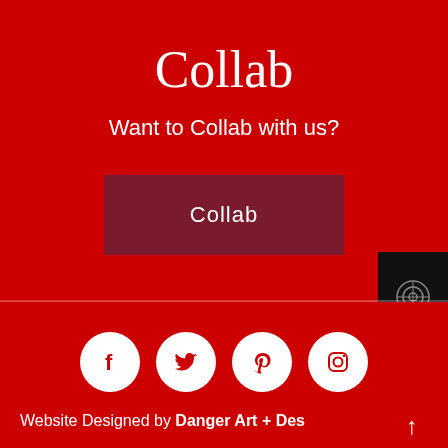Collab
Want to Collab with us?
Collab
[Figure (illustration): Four social media icon circles (Facebook, Twitter, Pinterest, Instagram) on red background]
Website Designed by Danger Art + Des ↑